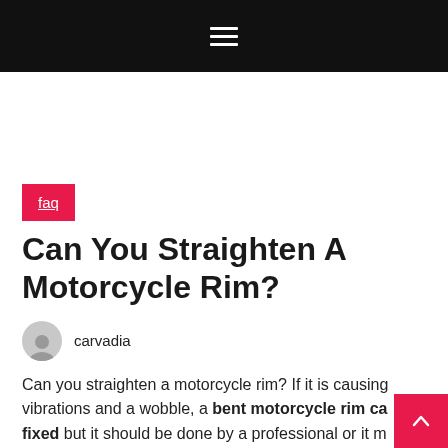≡ (hamburger menu icon)
faq
Can You Straighten A Motorcycle Rim?
carvadia
Can you straighten a motorcycle rim? If it is causing vibrations and a wobble, a bent motorcycle rim can be fixed but it should be done by a professional or it may need to be replaced. The metal on a bent rim cannot be reformed